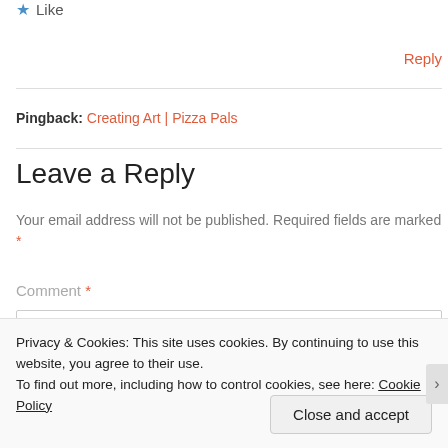★ Like
Reply
Pingback: Creating Art | Pizza Pals
Leave a Reply
Your email address will not be published. Required fields are marked *
Comment *
Privacy & Cookies: This site uses cookies. By continuing to use this website, you agree to their use. To find out more, including how to control cookies, see here: Cookie Policy
Close and accept